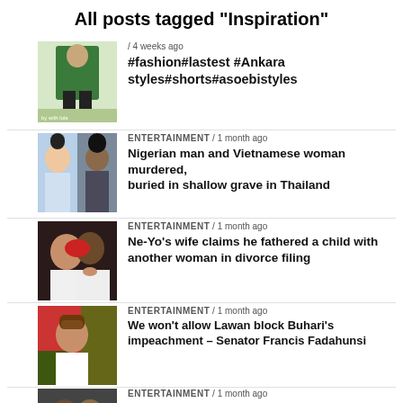All posts tagged "Inspiration"
[Figure (photo): Fashion photo thumbnail - person in green outfit]
/ 4 weeks ago
#fashion#lastest #Ankara styles#shorts#asoebistyles
[Figure (photo): Two people portrait thumbnail]
ENTERTAINMENT / 1 month ago
Nigerian man and Vietnamese woman murdered, buried in shallow grave in Thailand
[Figure (photo): Couple photo thumbnail - Ne-Yo and wife]
ENTERTAINMENT / 1 month ago
Ne-Yo's wife claims he fathered a child with another woman in divorce filing
[Figure (photo): Political figure thumbnail - Senator]
ENTERTAINMENT / 1 month ago
We won't allow Lawan block Buhari's impeachment – Senator Francis Fadahunsi
[Figure (photo): John Legend thumbnail]
ENTERTAINMENT / 1 month ago
John Legend ends friendship with Kanye West